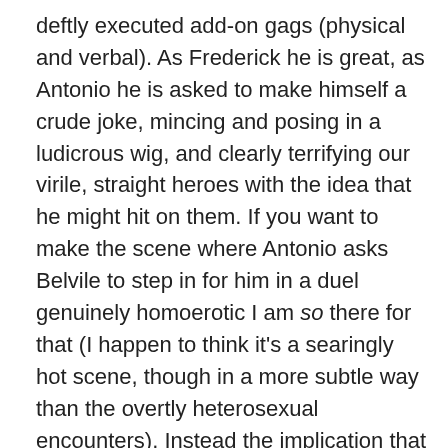deftly executed add-on gags (physical and verbal). As Frederick he is great, as Antonio he is asked to make himself a crude joke, mincing and posing in a ludicrous wig, and clearly terrifying our virile, straight heroes with the idea that he might hit on them. If you want to make the scene where Antonio asks Belvile to step in for him in a duel genuinely homoerotic I am so there for that (I happen to think it's a searingly hot scene, though in a more subtle way than the overtly heterosexual encounters). Instead the implication that Antonio might be going to try to seduce his captive is played as wholly farcical. Angelica leaves her last scene in the play with Antonio. If she is not to be seen as the cliché of the openly sexual woman who must conclude the story punished or failing, then Antonio needs to be an attractive prospect, which is exactly what he is in the script. Florinda admits she has no argument to offer